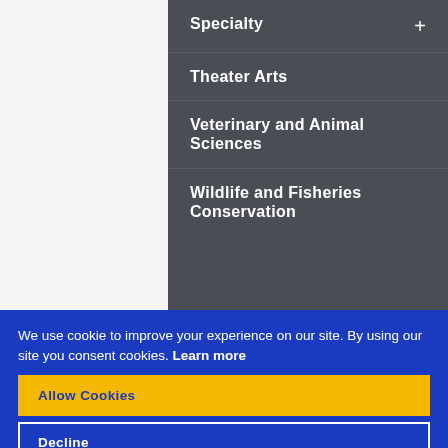Specialty +
Theater Arts
Veterinary and Animal Sciences
Wildlife and Fisheries Conservation
We use cookie to improve your experience on our site. By using our site you consent cookies. Learn more
Allow Cookies
Decline